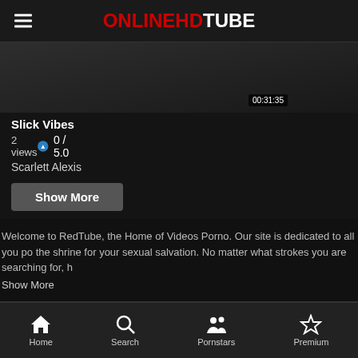ONLINEHDTUBE
[Figure (screenshot): Video thumbnail showing dark background with duration badge 00:31:35]
Slick Vibes
2 views
0 / 5.0
Scarlett Alexis
Show More
Welcome to RedTube, the Home of Videos Porno. Our site is dedicated to all you po... the shrine for your sexual salvation. No matter what strokes you are searching for, h...
Show More
PARTNERS
Bangbigass.com
Home  Search  Pornstars  Premium